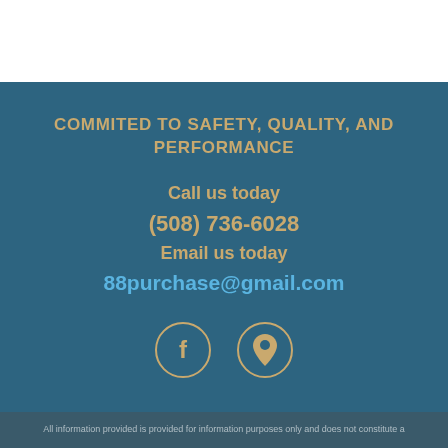COMMITED TO SAFETY, QUALITY, AND PERFORMANCE
Call us today
(508) 736-6028
Email us today
88purchase@gmail.com
[Figure (illustration): Two circular icon buttons with gold outlines on teal background: a Facebook 'f' icon and a map pin/location icon]
All information provided is provided for information purposes only and does not constitute a